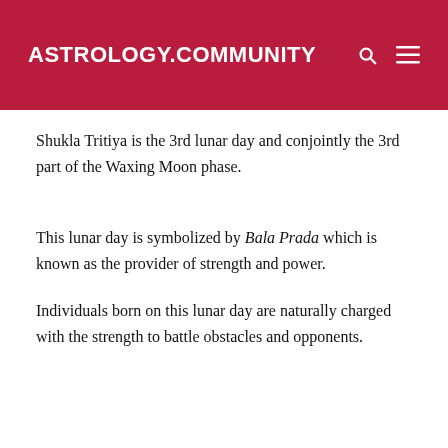ASTROLOGY.COMMUNITY
Shukla Tritiya is the 3rd lunar day and conjointly the 3rd part of the Waxing Moon phase.
This lunar day is symbolized by Bala Prada which is known as the provider of strength and power.
Individuals born on this lunar day are naturally charged with the strength to battle obstacles and opponents.